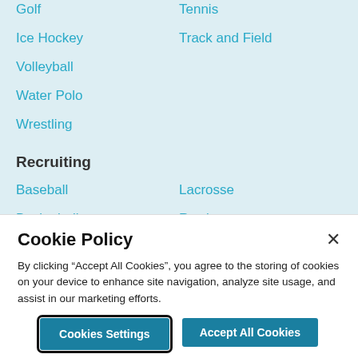Golf
Tennis
Ice Hockey
Track and Field
Volleyball
Water Polo
Wrestling
Recruiting
Baseball
Lacrosse
Basketball
Rowing
Cross Country
Soccer
Cookie Policy
By clicking “Accept All Cookies”, you agree to the storing of cookies on your device to enhance site navigation, analyze site usage, and assist in our marketing efforts.
Cookies Settings
Accept All Cookies